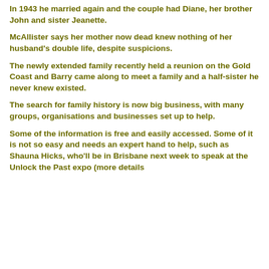In 1943 he married again and the couple had Diane, her brother John and sister Jeanette.
McAllister says her mother now dead knew nothing of her husband's double life, despite suspicions.
The newly extended family recently held a reunion on the Gold Coast and Barry came along to meet a family and a half-sister he never knew existed.
The search for family history is now big business, with many groups, organisations and businesses set up to help.
Some of the information is free and easily accessed. Some of it is not so easy and needs an expert hand to help, such as Shauna Hicks, who'll be in Brisbane next week to speak at the Unlock the Past expo (more details